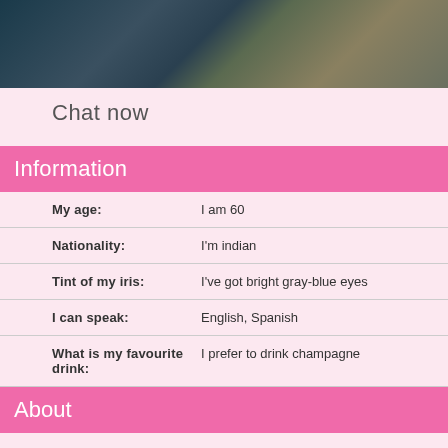[Figure (photo): Profile photo strip showing two people at the top of the page]
Chat now
Information
| My age: | I am 60 |
| Nationality: | I'm indian |
| Tint of my iris: | I've got bright gray-blue eyes |
| I can speak: | English, Spanish |
| What is my favourite drink: | I prefer to drink champagne |
About